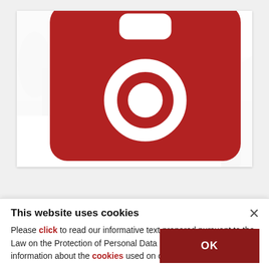[Figure (photo): Black and white photograph of five people standing outdoors, appearing to be from a film. From left: a boy in a suit jacket, a woman in a coat, an older woman in a black hat and cape, a tall man in a suit, and a younger boy on the right.]
Best shots from Oscar-nominated 'Belfast'
PHOTOGALLERY
This website uses cookies
Please click to read our informative text prepared pursuant to the Law on the Protection of Personal Data No. 6698 and to get information about the cookies used on our